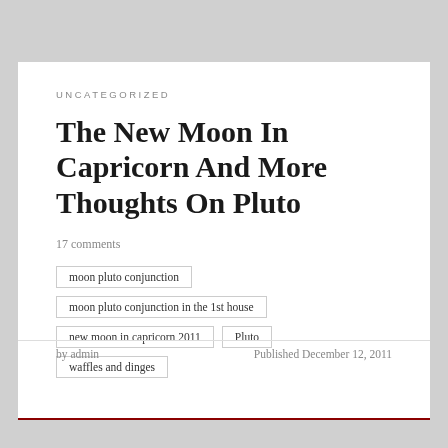UNCATEGORIZED
The New Moon In Capricorn And More Thoughts On Pluto
17 comments
moon pluto conjunction
moon pluto conjunction in the 1st house
new moon in capricorn 2011
Pluto
waffles and dinges
by admin
Published December 12, 2011